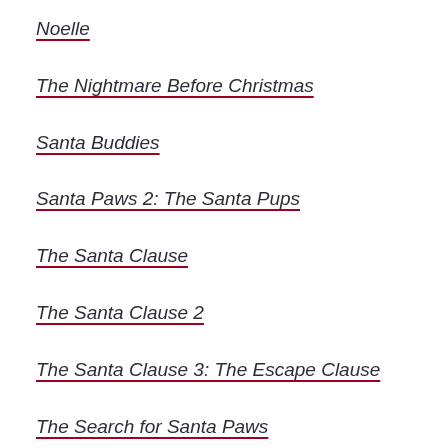Noelle
The Nightmare Before Christmas
Santa Buddies
Santa Paws 2: The Santa Pups
The Santa Clause
The Santa Clause 2
The Santa Clause 3: The Escape Clause
The Search for Santa Paws